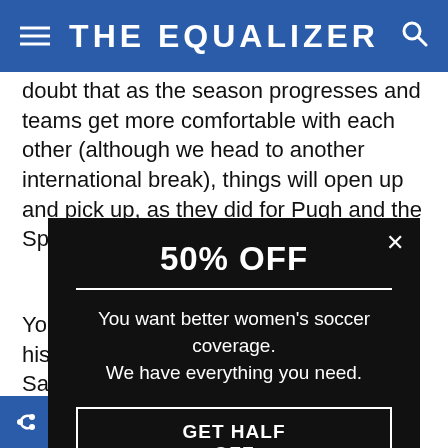THE EQUALIZER
doubt that as the season progresses and teams get more comfortable with each other (although we head to another international break), things will open up and pick up, as they did for Pugh and the Spirit.
You don't have t... history to find a... Saturday, and it... players. In her p... Sky Blue trailed... before Sam Ker... rampages in wo... oring four tim... Sky Blue wor...
[Figure (infographic): Popup advertisement overlay showing '50% OFF' promotional modal for The Equalizer women's soccer coverage subscription]
50% OFF — You want better women's soccer coverage. We have everything you need. GET HALF OFF